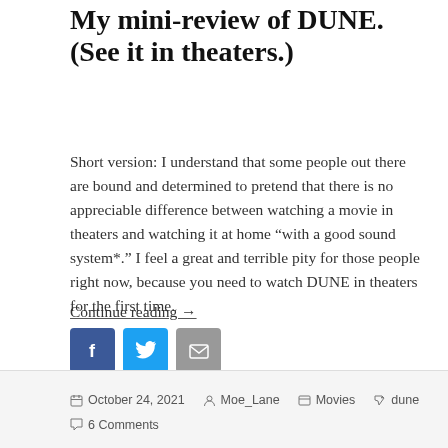My mini-review of DUNE. (See it in theaters.)
Short version: I understand that some people out there are bound and determined to pretend that there is no appreciable difference between watching a movie in theaters and watching it at home “with a good sound system*.” I feel a great and terrible pity for those people right now, because you need to watch DUNE in theaters for the first time.
Continue reading →
[Figure (infographic): Social share buttons: Facebook (blue), Twitter (light blue), Email (grey)]
October 24, 2021  Moe_Lane  Movies  dune  6 Comments